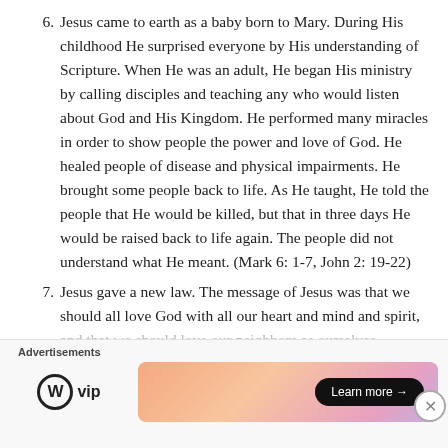6. Jesus came to earth as a baby born to Mary. During His childhood He surprised everyone by His understanding of Scripture. When He was an adult, He began His ministry by calling disciples and teaching any who would listen about God and His Kingdom. He performed many miracles in order to show people the power and love of God. He healed people of disease and physical impairments. He brought some people back to life. As He taught, He told the people that He would be killed, but that in three days He would be raised back to life again. The people did not understand what He meant. (Mark 6: 1-7, John 2: 19-22)
7. Jesus gave a new law. The message of Jesus was that we should all love God with all our heart and mind and spirit, and that we should love our neighbors as ourselves.
Advertisements
[Figure (logo): WordPress VIP logo with circular W mark]
[Figure (infographic): Advertisement banner with gradient background (orange to pink to purple) with a 'Learn more →' button]